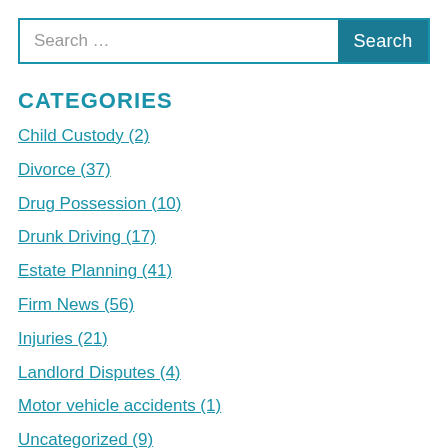[Figure (screenshot): Search bar with text input field showing 'Search ...' placeholder and a teal 'Search' button on the right]
CATEGORIES
Child Custody (2)
Divorce (37)
Drug Possession (10)
Drunk Driving (17)
Estate Planning (41)
Firm News (56)
Injuries (21)
Landlord Disputes (4)
Motor vehicle accidents (1)
Uncategorized (9)